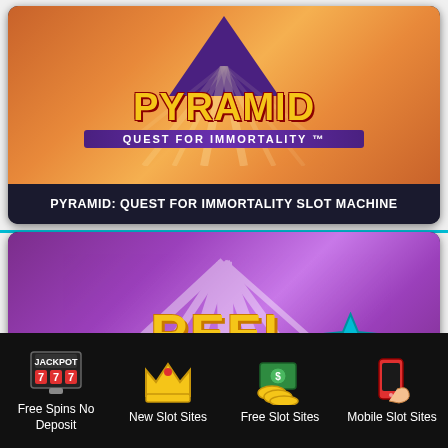[Figure (screenshot): Pyramid: Quest for Immortality slot machine game logo on orange gradient background with purple pyramid shape]
PYRAMID: QUEST FOR IMMORTALITY SLOT MACHINE
[Figure (screenshot): Reel Rush 2 slot machine game logo on purple gradient background with colorful lettering]
Free Spins No Deposit
New Slot Sites
Free Slot Sites
Mobile Slot Sites